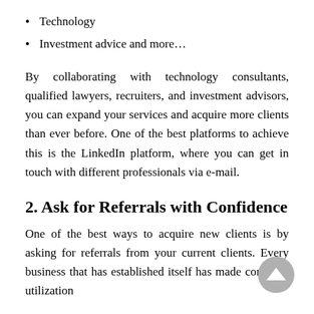Technology
Investment advice and more…
By collaborating with technology consultants, qualified lawyers, recruiters, and investment advisors, you can expand your services and acquire more clients than ever before. One of the best platforms to achieve this is the LinkedIn platform, where you can get in touch with different professionals via e-mail.
2. Ask for Referrals with Confidence
One of the best ways to acquire new clients is by asking for referrals from your current clients. Every business that has established itself has made complete utilization